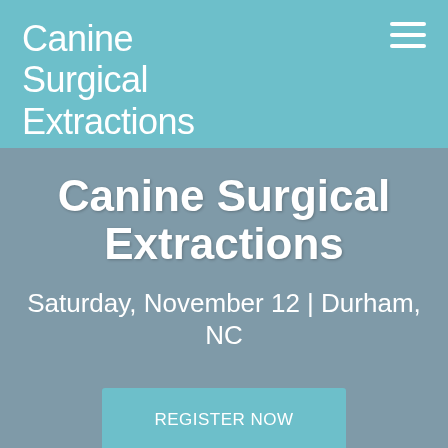Canine Surgical Extractions
Canine Surgical Extractions
Saturday, November 12  |  Durham, NC
REGISTER NOW